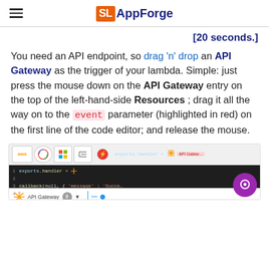SLAppForge
[20 seconds.]
You need an API endpoint, so drag 'n' drop an API Gateway as the trigger of your lambda. Simple: just press the mouse down on the API Gateway entry on the top of the left-hand-side Resources ; drag it all the way on to the event parameter (highlighted in red) on the first line of the code editor; and release the mouse.
[Figure (screenshot): Screenshot of SLAppForge IDE showing AWS Lambda editor with API Gateway being dragged onto the event parameter in the code editor. Top toolbar shows AWS, Google Cloud, Azure, and tools icons. Code editor shows exports.handler function. Bottom panel shows API Gateway component. Purple chat bubble visible.]